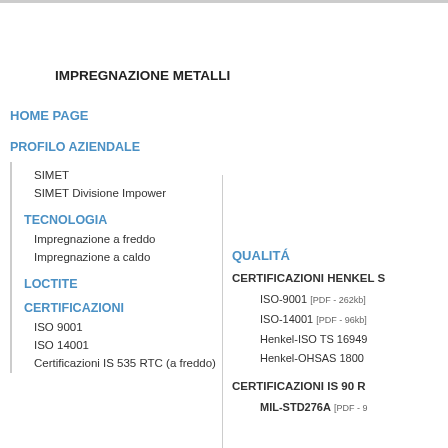IMPREGNAZIONE METALLI
HOME PAGE
PROFILO AZIENDALE
SIMET
SIMET Divisione Impower
TECNOLOGIA
Impregnazione a freddo
Impregnazione a caldo
LOCTITE
CERTIFICAZIONI
ISO 9001
ISO 14001
Certificazioni IS 535 RTC (a freddo)
QUALITÁ
CERTIFICAZIONI HENKEL S
ISO-9001 [PDF - 262kb]
ISO-14001 [PDF - 96kb]
Henkel-ISO TS 16949
Henkel-OHSAS 1800
CERTIFICAZIONI IS 90 R
MIL-STD276A [PDF - 9